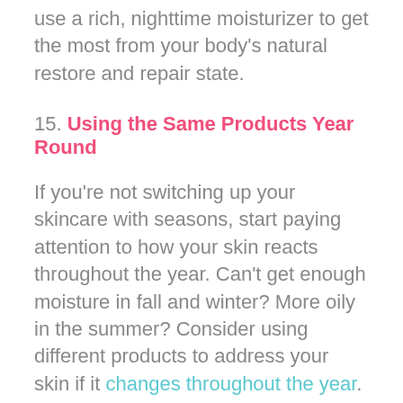use a rich, nighttime moisturizer to get the most from your body's natural restore and repair state.
15. Using the Same Products Year Round
If you're not switching up your skincare with seasons, start paying attention to how your skin reacts throughout the year. Can't get enough moisture in fall and winter? More oily in the summer? Consider using different products to address your skin if it changes throughout the year.
16. Not Moisturizing Oily Skin